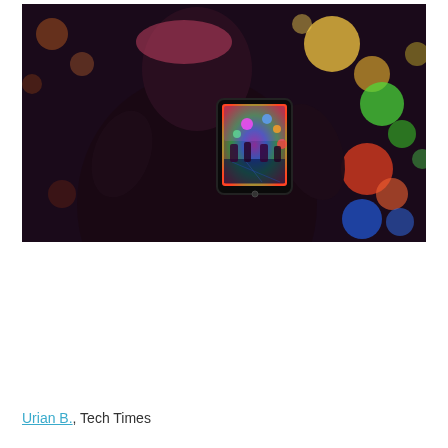[Figure (photo): Person photographing a colorful carousel or amusement ride at night with a smartphone. The background is filled with blurred bokeh lights in yellow, green, red, orange, and blue. The phone screen shows the colorful scene being captured.]
Urian B., Tech Times